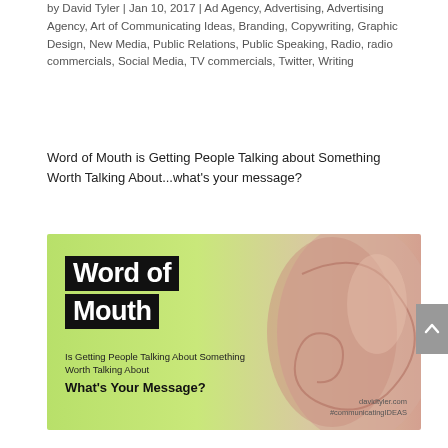by David Tyler | Jan 10, 2017 | Ad Agency, Advertising, Advertising Agency, Art of Communicating Ideas, Branding, Copywriting, Graphic Design, New Media, Public Relations, Public Speaking, Radio, radio commercials, Social Media, TV commercials, Twitter, Writing
Word of Mouth is Getting People Talking about Something Worth Talking About...what's your message?
[Figure (illustration): Promotional image with green-to-skin-tone gradient background showing a close-up of a human ear on the right side. On the left, bold white text on black rectangles reads 'Word of Mouth'. Below that, smaller text: 'Is Getting People Talking About Something Worth Talking About'. Bold black text: 'What's Your Message?'. Bottom right: 'davidtyler.com #communicatingIDEAS'.]